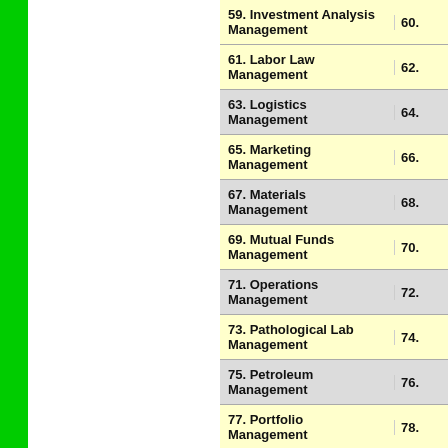| Course | No. |
| --- | --- |
| 59. Investment Analysis Management | 60. |
| 61. Labor Law Management | 62. |
| 63. Logistics Management | 64. |
| 65. Marketing Management | 66. |
| 67. Materials Management | 68. |
| 69. Mutual Funds Management | 70. |
| 71. Operations Management | 72. |
| 73. Pathological Lab Management | 74. |
| 75. Petroleum Management | 76. |
| 77. Portfolio Management | 78. |
| 79. Project Management | 80. |